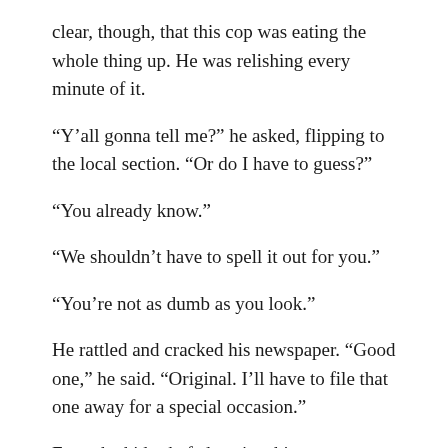clear, though, that this cop was eating the whole thing up. He was relishing every minute of it.
“Y’all gonna tell me?” he asked, flipping to the local section. “Or do I have to guess?”
“You already know.”
“We shouldn’t have to spell it out for you.”
“You’re not as dumb as you look.”
He rattled and cracked his newspaper. “Good one,” he said. “Original. I’ll have to file that one away for a special occasion.”
Even the kids chafed against his sarcasm.
The sergeant sipped coffee and perused the